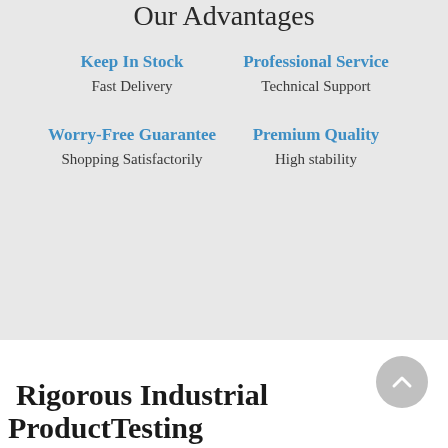Our Advantages
Keep In Stock
Fast Delivery
Professional Service
Technical Support
Worry-Free Guarantee
Shopping Satisfactorily
Premium Quality
High stability
[Figure (illustration): Circular scroll-up arrow button in grey]
Rigorous Industrial ProductTesting